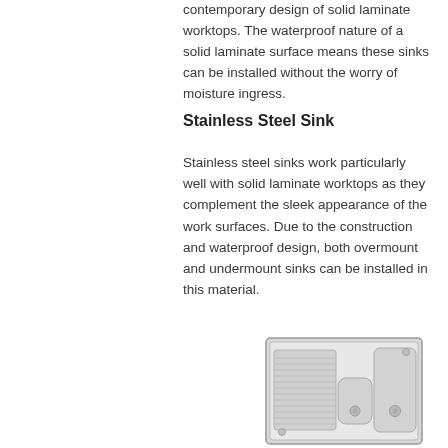perfectly well with the contemporary design of solid laminate worktops. The waterproof nature of a solid laminate surface means these sinks can be installed without the worry of moisture ingress.
Stainless Steel Sink
Stainless steel sinks work particularly well with solid laminate worktops as they complement the sleek appearance of the work surfaces. Due to the construction and waterproof design, both overmount and undermount sinks can be installed in this material.
[Figure (photo): A stainless steel sink with a drainer on the left side and a double bowl basin on the right side.]